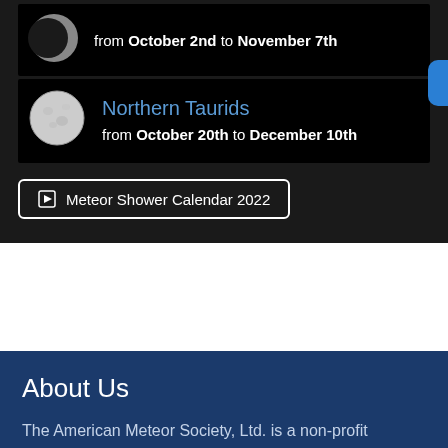from October 2nd to November 7th
Northern Taurids
from October 20th to December 10th
Meteor Shower Calendar 2022
About Us
The American Meteor Society, Ltd. is a non-profit scientific organization founded in 1911 and established to inform, encourage, and support the research activities of both amateur and professional